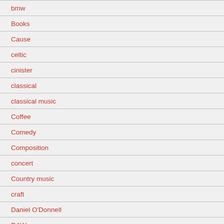bmw
Books
Cause
celtic
cinister
classical
classical music
Coffee
Comedy
Composition
concert
Country music
craft
Daniel O'Donnell
DAW
Derek Ryan
Digital Performer
Dingwall Bass